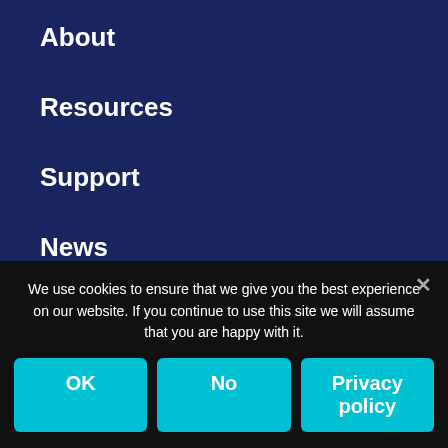About
Resources
Support
News
Partner resources
Twitter
Privacy Policy
We use cookies to ensure that we give you the best experience on our website. If you continue to use this site we will assume that you are happy with it.